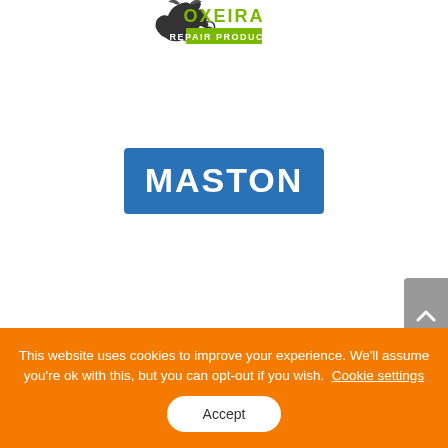[Figure (logo): Oxeira Repair Products logo — bull silhouette with green text 'OXEIRA' and 'REPAIR PRODUCTS' below]
[Figure (logo): Maston logo — white bold text 'MASTON' on a blue rounded rectangle background]
[Figure (other): Grey scroll-to-top button with white chevron arrow pointing up, on right edge]
This website uses cookies to improve your experience. We'll assume you're ok with this, but you can opt-out if you wish. Cookie settings
Accept